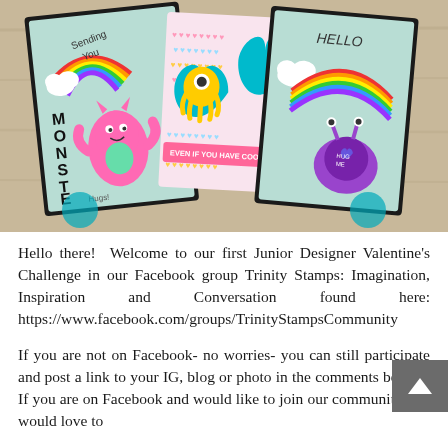[Figure (photo): Three handmade greeting cards displayed on a wooden surface. Left card features a pink monster with 'MONSTER' text and rainbow. Center card has a yellow one-eyed monster with a teal heart and text 'EVEN IF YOU HAVE COOTIES'. Right card has a purple snail/monster with rainbow and 'HELLO' text.]
Hello there!  Welcome to our first Junior Designer Valentine's Challenge in our Facebook group Trinity Stamps: Imagination, Inspiration and Conversation found here: https://www.facebook.com/groups/TrinityStampsCommunity
If you are not on Facebook- no worries- you can still participate and post a link to your IG, blog or photo in the comments below!  If you are on Facebook and would like to join our community- we would love to